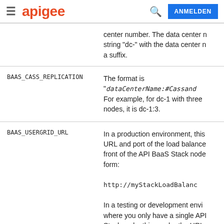apigee — ANMELDEN
| Property | Description |
| --- | --- |
|  | center number. The data center n string "dc-" with the data center n a suffix. |
| BAAS_CASS_REPLICATION | The format is "dataCenterName:#Cassand For example, for dc-1 with three nodes, it is dc-1:3. |
| BAAS_USERGRID_URL | In a production environment, this URL and port of the load balance front of the API BaaS Stack node form:

http://myStackLoadBalanc

In a testing or development envi where you only have a single API Stack node, this can be the URL a number of an API BaaS Stack no form: |